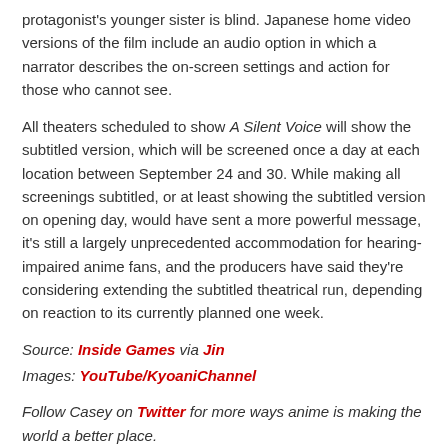protagonist's younger sister is blind. Japanese home video versions of the film include an audio option in which a narrator describes the on-screen settings and action for those who cannot see.
All theaters scheduled to show A Silent Voice will show the subtitled version, which will be screened once a day at each location between September 24 and 30. While making all screenings subtitled, or at least showing the subtitled version on opening day, would have sent a more powerful message, it's still a largely unprecedented accommodation for hearing-impaired anime fans, and the producers have said they're considering extending the subtitled theatrical run, depending on reaction to its currently planned one week.
Source: Inside Games via Jin
Images: YouTube/KyoaniChannel
Follow Casey on Twitter for more ways anime is making the world a better place.
Rate This
Like this:
Like